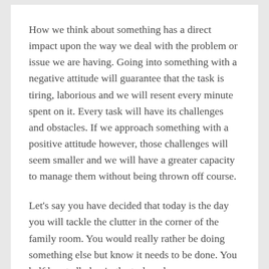How we think about something has a direct impact upon the way we deal with the problem or issue we are having. Going into something with a negative attitude will guarantee that the task is tiring, laborious and we will resent every minute spent on it. Every task will have its challenges and obstacles. If we approach something with a positive attitude however, those challenges will seem smaller and we will have a greater capacity to manage them without being thrown off course.
Let's say you have decided that today is the day you will tackle the clutter in the corner of the family room. You would really rather be doing something else but know it needs to be done. You half heartedly begin the task and